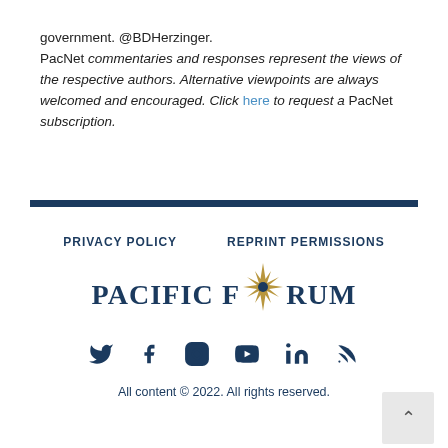government. @BDHerzinger.
PacNet commentaries and responses represent the views of the respective authors. Alternative viewpoints are always welcomed and encouraged. Click here to request a PacNet subscription.
PRIVACY POLICY   REPRINT PERMISSIONS
[Figure (logo): Pacific Forum logo with compass star icon and text PACIFIC FORUM in navy blue and gold]
[Figure (infographic): Social media icons: Twitter, Facebook, Instagram, YouTube, LinkedIn, RSS feed — all in navy blue]
All content © 2022. All rights reserved.